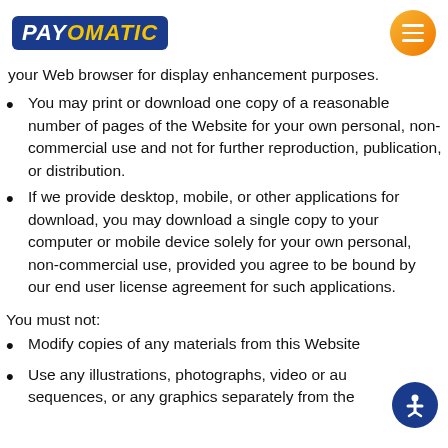[Figure (logo): PAYOMATIC logo in blue rounded rectangle with yellow text, and orange circular hamburger menu button]
your Web browser for display enhancement purposes.
You may print or download one copy of a reasonable number of pages of the Website for your own personal, non-commercial use and not for further reproduction, publication, or distribution.
If we provide desktop, mobile, or other applications for download, you may download a single copy to your computer or mobile device solely for your own personal, non-commercial use, provided you agree to be bound by our end user license agreement for such applications.
You must not:
Modify copies of any materials from this Website
Use any illustrations, photographs, video or audio sequences, or any graphics separately from the